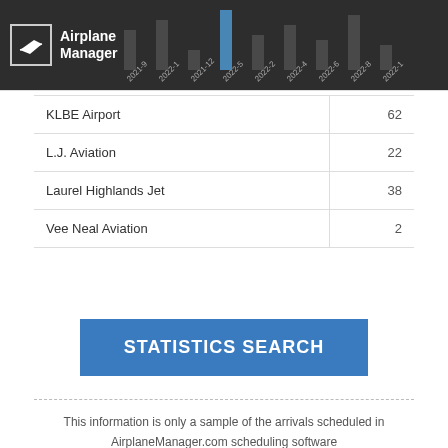Airplane Manager
|  |  |
| --- | --- |
| KLBE Airport | 62 |
| L.J. Aviation | 22 |
| Laurel Highlands Jet | 38 |
| Vee Neal Aviation | 2 |
STATISTICS SEARCH
This information is only a sample of the arrivals scheduled in AirplaneManager.com scheduling software and is not representative of data/information from the FAA or aviation industry.